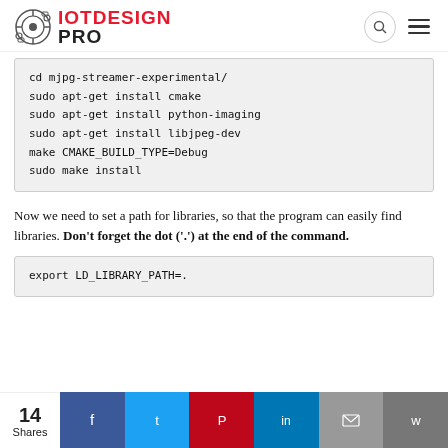IOT DESIGN PRO
cd mjpg-streamer-experimental/
sudo apt-get install cmake
sudo apt-get install python-imaging
sudo apt-get install libjpeg-dev
make CMAKE_BUILD_TYPE=Debug
sudo make install
Now we need to set a path for libraries, so that the program can easily find libraries. Don't forget the dot ('.') at the end of the command.
export LD_LIBRARY_PATH=.
14 Shares